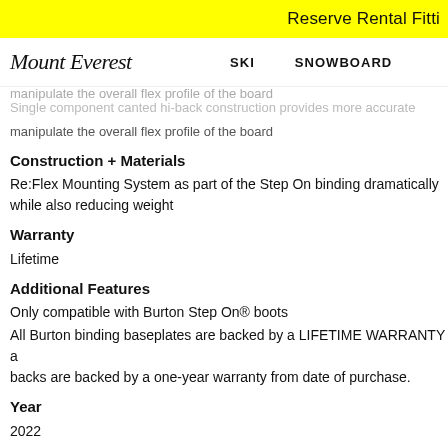Reserve Rental Fitti
[Figure (logo): Mount Everest cursive logo]
manipulate the overall flex profile of the board
Construction + Materials
Re:Flex Mounting System as part of the Step On binding dramatically while also reducing weight
Warranty
Lifetime
Additional Features
Only compatible with Burton Step On® boots
All Burton binding baseplates are backed by a LIFETIME WARRANTY a backs are backed by a one-year warranty from date of purchase.
Year
2022
Brand
Burton
Ability
Intermediate to Advanced